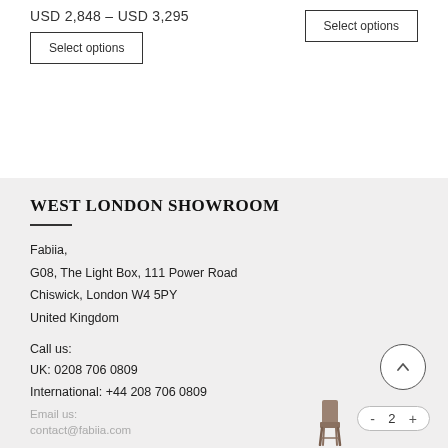USD 2,848 – USD 3,295
Select options
Select options
WEST LONDON SHOWROOM
Fabiia,
G08, The Light Box, 111 Power Road
Chiswick, London W4 5PY
United Kingdom
Call us:
UK: 0208 706 0809
International: +44 208 706 0809
Email us:
contact@fabiia.com